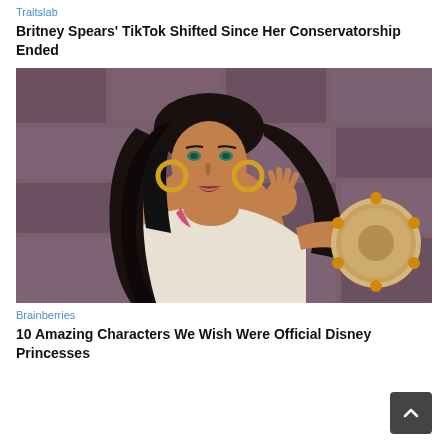Traitslab
Britney Spears' TikTok Shifted Since Her Conservatorship Ended
[Figure (illustration): Animated Disney character Esmeralda from The Hunchback of Notre Dame, holding a tambourine, with long black hair and green eyes, against a stone wall background.]
Brainberries
10 Amazing Characters We Wish Were Official Disney Princesses